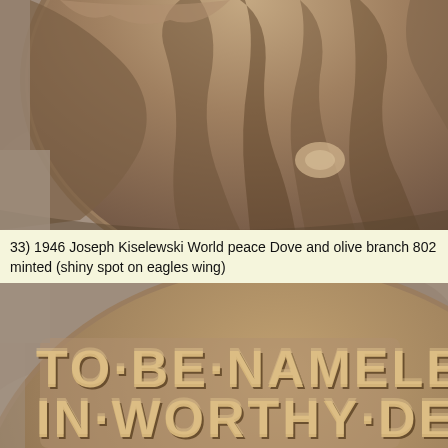[Figure (photo): Close-up photograph of a bronze medal showing a detailed relief sculpture — appears to be a dove or eagle with wings and drapery, circular medal edge visible, brownish-bronze patina, on a gray stone background.]
33) 1946 Joseph Kiselewski World peace Dove and olive branch 802 minted (shiny spot on eagles wing)
[Figure (photo): Close-up photograph of the reverse of a bronze medal showing raised text reading 'TO·BE·NAMELE' (partially cropped) on the first line and 'IN·WORTHY·DE' (partially cropped) on the second line, with decorative dots between words, on a brownish-bronze background.]